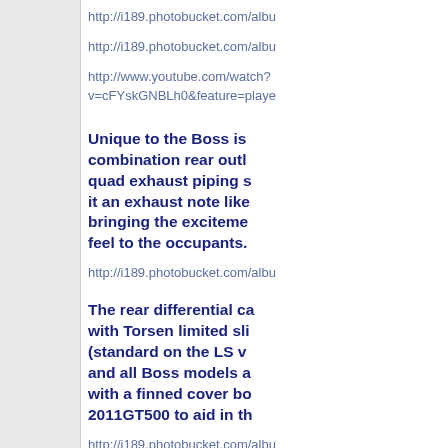http://i189.photobucket.com/albu
http://i189.photobucket.com/albu
http://www.youtube.com/watch?v=cFYskGNBLh0&feature=playe
Unique to the Boss is combination rear outl quad exhaust piping s it an exhaust note like bringing the exciteme feel to the occupants.
http://i189.photobucket.com/albu
The rear differential ca with Torsen limited sli (standard on the LS v and all Boss models a with a finned cover bo 2011GT500 to aid in th
http://i189.photobucket.com/albu
The Boss also has 5-way a